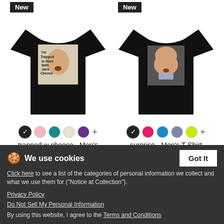[Figure (photo): Black men's t-shirt with a photo print showing a man's face and text 'I'm Trapped In Here With Jack Cheese'. New badge in top-left corner.]
[Figure (photo): Black men's t-shirt with a photo print of a bald man's face. New badge in top-left corner.]
trapped w cheese - Men's Premium T-Shirt
$25.99
surprise - Men's T-Shirt
$21.99
We use cookies
Click here to see a list of the categories of personal information we collect and what we use them for ("Notice at Collection").
Privacy Policy
Do Not Sell My Personal Information
By using this website, I agree to the Terms and Conditions